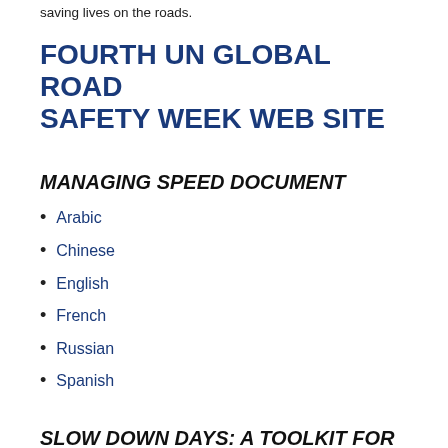saving lives on the roads.
FOURTH UN GLOBAL ROAD SAFETY WEEK WEB SITE
MANAGING SPEED DOCUMENT
Arabic
Chinese
English
French
Russian
Spanish
SLOW DOWN DAYS: A TOOLKIT FOR ORGANIZERS